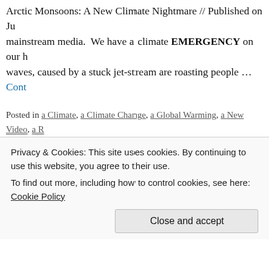Arctic Monsoons: A New Climate Nightmare // Published on Ju… mainstream media. We have a climate EMERGENCY on our h… waves, caused by a stuck jet-stream are roasting people … Cont…
Posted in a Climate, a Climate Change, a Global Warming, a New Video, a R… Weather, Catastrophe, Warnings, zz Videos | Tagged a Aerosols, a Altitude, a… Arctic Sea Ice, a Atmospheric Rivers, a Carbon Dioxide, a CDR, a Climate, a… Climate Mayhem, a Cloud Condensation Nuclei, a Clouds, a CO2, a Coastlin… Feedbacks, a Ferrel Cell, a Fractured, a Geoengineering, a Geography, a Ge… Warming, a Grand Solar Minimum, a Greenland, a GSM, a Hadley Cell, a Hy… Streaks, a Jet Streams, a Latent Heat, a Negative Vorticity, a Ocean Currents… Cell, a Polar Vortex, a Positive Vorticity, a Pressure, a Radiative Forcing, a Sa… Siberian, a Siberian Atmospheric Rivers, a Solar, a Solar Cycle, a SRM, a SS… Sudden Stratospheric Warming, a Sun, a Sunspots, a Superstorms, a Tempe… a Tropopause, a Troposphere, a Water Vapour, a Weather, a Weather Extrem… Whiplashing, a Weather Wilding, Air Conditioning, AIRS, AMAP, CAPE, CH4… Energy, Convective Uplift, Ebullition, GRACE, groundwater, GWP, Heat Dome… Humidity, Hydration, Hydroxyl, Hyperthermia, ice, Lifetime, Methane Burbs, M…
Privacy & Cookies: This site uses cookies. By continuing to use this website, you agree to their use.
To find out more, including how to control cookies, see here: Cookie Policy
Close and accept